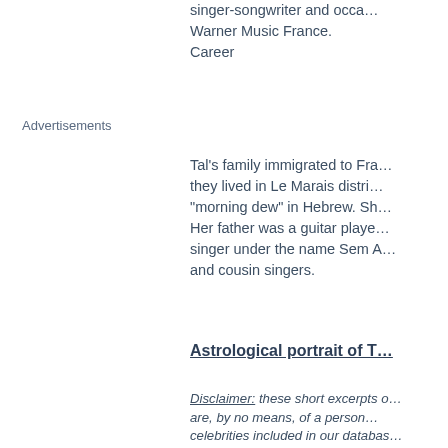singer-songwriter and occa… Warner Music France. Career
Advertisements
Tal's family immigrated to Fra… they lived in Le Marais distri… "morning dew" in Hebrew. Sh… Her father was a guitar playe… singer under the name Sem A… and cousin singers.
Astrological portrait of T…
Disclaimer: these short excerpts o… are, by no means, of a person… celebrities included in our databas… combination of planets, in signs … planetary dominants in line with … Astrotheme is not a polemic web… good reputation of a celebrity … astrological portrait.